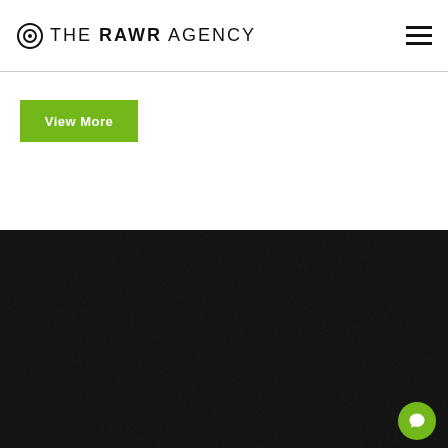THE RAWR AGENCY
View More
[Figure (logo): The RAWR Agency logo in white on dark textured background]
Get In Touch